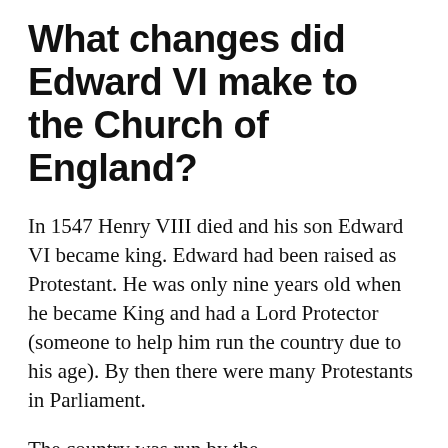What changes did Edward VI make to the Church of England?
In 1547 Henry VIII died and his son Edward VI became king. Edward had been raised as Protestant. He was only nine years old when he became King and had a Lord Protector (someone to help him run the country due to his age). By then there were many Protestants in Parliament.
The country was run by the ‘Protectors’ on his behalf. They passed laws – with Edward’s agreement – which made the Church Protestant. A Book of Common Prayer was introduced that everyone should follow.